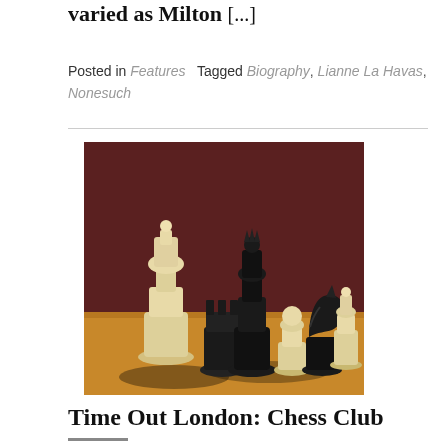varied as Milton [...]
Posted in Features   Tagged Biography, Lianne La Havas, Nonesuch
[Figure (photo): A group of black and cream/ivory chess pieces arranged on a wooden chess board surface, photographed against a dark reddish-brown background. The pieces include kings, queens, rooks, a knight, and a pawn, in both black and white/cream colors.]
Time Out London: Chess Club